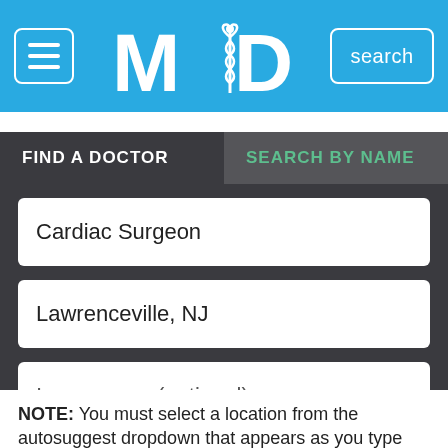[Figure (screenshot): App navigation bar with hamburger menu icon, MD logo with caduceus symbol, and search button on blue background]
FIND A DOCTOR
SEARCH BY NAME
Cardiac Surgeon
Lawrenceville, NJ
Insurance... (optional)
SEARCH
NOTE: You must select a location from the autosuggest dropdown that appears as you type